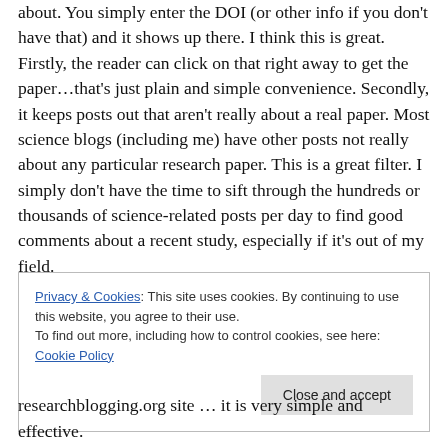about. You simply enter the DOI (or other info if you don't have that) and it shows up there. I think this is great. Firstly, the reader can click on that right away to get the paper…that's just plain and simple convenience. Secondly, it keeps posts out that aren't really about a real paper. Most science blogs (including me) have other posts not really about any particular research paper. This is a great filter. I simply don't have the time to sift through the hundreds or thousands of science-related posts per day to find good comments about a recent study, especially if it's out of my field.
Privacy & Cookies: This site uses cookies. By continuing to use this website, you agree to their use. To find out more, including how to control cookies, see here: Cookie Policy
researchblogging.org site … it is very simple and effective.